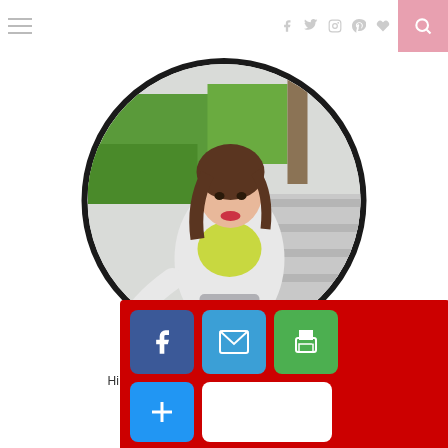Navigation header with hamburger menu, social icons (Facebook, Twitter, Instagram, Pinterest, Heart, Google+, YouTube), and search button
[Figure (photo): Circular cropped photo of a young woman wearing a yellow-green sports bra and white jacket, posing outdoors near greenery and a walkway.]
work with me: hello@kikaysikat.com
Hi there! I'm Kaysee of www.kikaysikat.com
[Figure (infographic): Share overlay bar with red background containing share buttons: Facebook (blue), Email (blue), Print (green), More (blue plus icon), and a white blank button.]